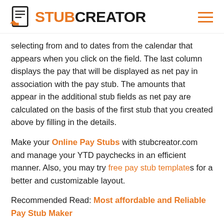STUBCREATOR
selecting from and to dates from the calendar that appears when you click on the field. The last column displays the pay that will be displayed as net pay in association with the pay stub. The amounts that appear in the additional stub fields as net pay are calculated on the basis of the first stub that you created above by filling in the details.
Make your Online Pay Stubs with stubcreator.com and manage your YTD paychecks in an efficient manner. Also, you may try free pay stub templates for a better and customizable layout.
Recommended Read: Most affordable and Reliable Pay Stub Maker
Tags: check stub creator, free paycheck calculator